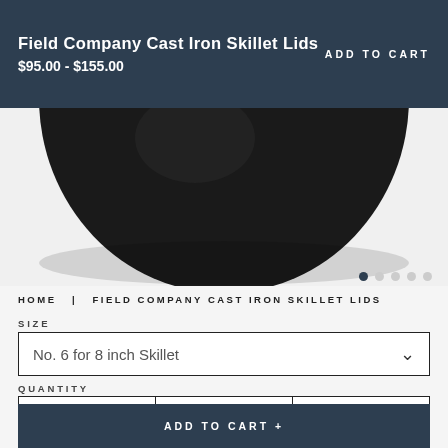Field Company Cast Iron Skillet Lids $95.00 - $155.00
ADD TO CART
[Figure (photo): Overhead view of a cast iron skillet lid, dark/black circular object against a light background]
HOME | FIELD COMPANY CAST IRON SKILLET LIDS
SIZE
No. 6 for 8 inch Skillet
QUANTITY
1
ADD TO CART +